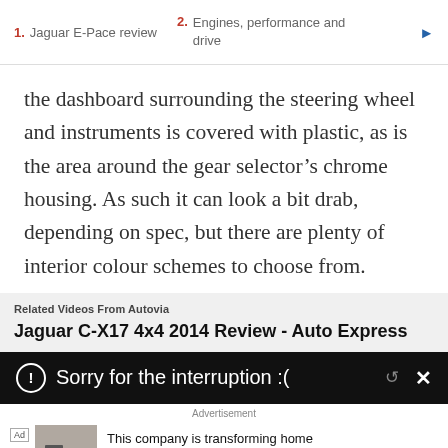1. Jaguar E-Pace review   2. Engines, performance and drive
the dashboard surrounding the steering wheel and instruments is covered with plastic, as is the area around the gear selector’s chrome housing. As such it can look a bit drab, depending on spec, but there are plenty of interior colour schemes to choose from.
Related Videos From Autovia
Jaguar C-X17 4x4 2014 Review - Auto Express
[Figure (screenshot): Black bar with white text: Sorry for the interruption :(  with share and close icons]
Advertisement
This company is transforming home security
SimpliSafe
Learn More